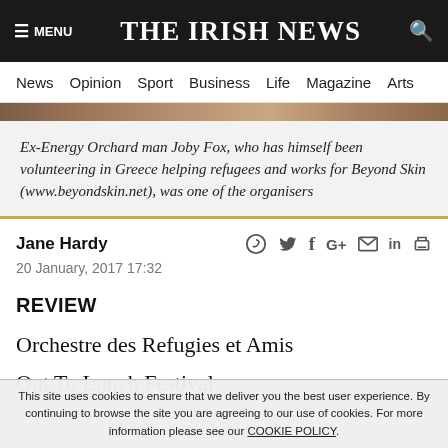☰ MENU   THE IRISH NEWS   🔍
News  Opinion  Sport  Business  Life  Magazine  Arts
Ex-Energy Orchard man Joby Fox, who has himself been volunteering in Greece helping refugees and works for Beyond Skin (www.beyondskin.net), was one of the organisers
Jane Hardy
20 January, 2017 17:32
REVIEW
Orchestre des Refugies et Amis
Out To Lunch Festival
This site uses cookies to ensure that we deliver you the best user experience. By continuing to browse the site you are agreeing to our use of cookies. For more information please see our COOKIE POLICY.